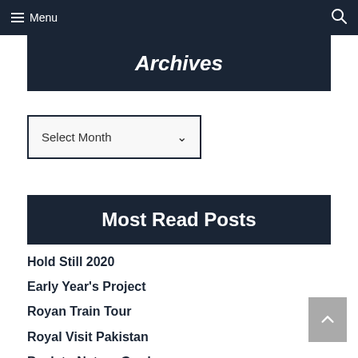Menu
Archives
Select Month
Most Read Posts
Hold Still 2020
Early Year's Project
Royan Train Tour
Royal Visit Pakistan
Back to Nature Garden
Royal Visit Canada